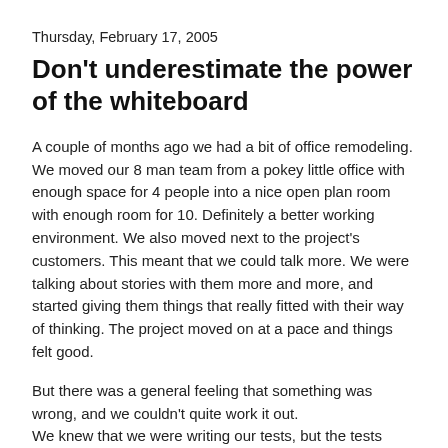Thursday, February 17, 2005
Don't underestimate the power of the whiteboard
A couple of months ago we had a bit of office remodeling. We moved our 8 man team from a pokey little office with enough space for 4 people into a nice open plan room with enough room for 10. Definitely a better working environment. We also moved next to the project's customers. This meant that we could talk more. We were talking about stories with them more and more, and started giving them things that really fitted with their way of thinking. The project moved on at a pace and things felt good.
But there was a general feeling that something was wrong, and we couldn't quite work it out.
We knew that we were writing our tests, but the tests weren't quite, I don't know, right.
The code started to feel more and more cumbersome, things seemed less and less intuitive. But we couldn't put our finger on it. Do give me a chance to bore you with the rest of the story...